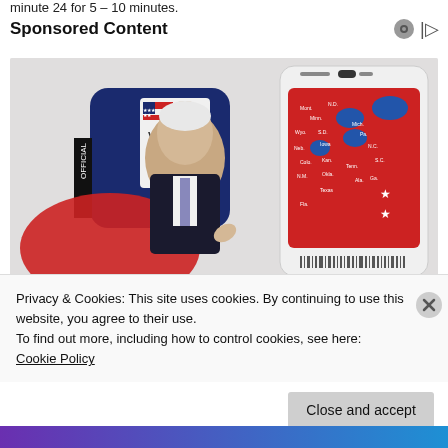minute 24 for 5 – 10 minutes.
Sponsored Content
[Figure (photo): Sponsored advertisement image showing a person (Joe Biden) in front of a US electoral map with red and blue states, a 'VOTE' ballot box, and a smartphone mockup. The map shows states colored red and blue. Stars are visible on the red map area.]
Privacy & Cookies: This site uses cookies. By continuing to use this website, you agree to their use.
To find out more, including how to control cookies, see here:
Cookie Policy
Close and accept